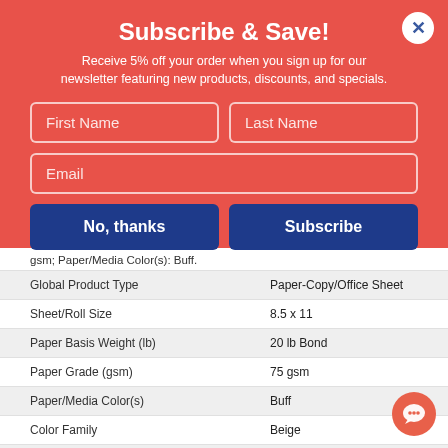Subscribe & Save!
Receive 5% off your order when you sign up for our newsletter featuring new products, discounts, and specials.
First Name
Last Name
Email
No, thanks
Subscribe
gsm; Paper/Media Color(s): Buff.
| Property | Value |
| --- | --- |
| Global Product Type | Paper-Copy/Office Sheet |
| Sheet/Roll Size | 8.5 x 11 |
| Paper Basis Weight (lb) | 20 lb Bond |
| Paper Grade (gsm) | 75 gsm |
| Paper/Media Color(s) | Buff |
| Color Family | Beige |
| Machine Compatibility | Copiers; Fax Machines; Laser Printers; Offset Presses; Spirit Duplicators |